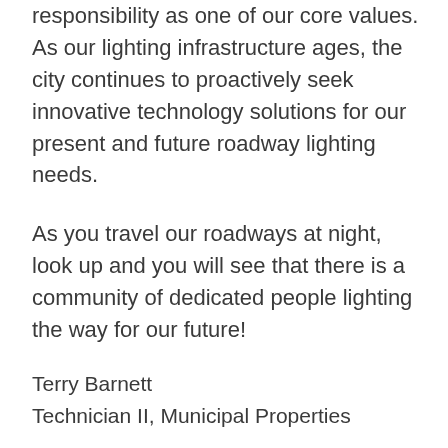responsibility as one of our core values. As our lighting infrastructure ages, the city continues to proactively seek innovative technology solutions for our present and future roadway lighting needs.
As you travel our roadways at night, look up and you will see that there is a community of dedicated people lighting the way for our future!
Terry Barnett
Technician II, Municipal Properties